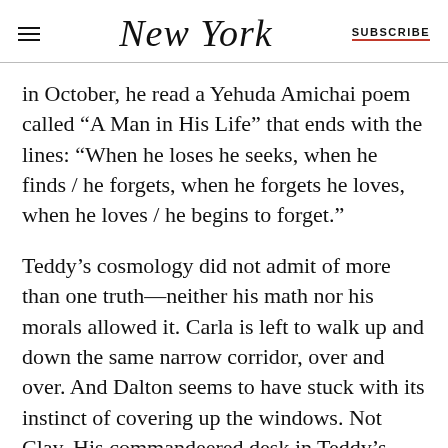NEW YORK  SUBSCRIBE
in October, he read a Yehuda Amichai poem called “A Man in His Life” that ends with the lines: “When he loses he seeks, when he finds / he forgets, when he forgets he loves, when he loves / he begins to forget.”
Teddy’s cosmology did not admit of more than one truth—neither his math nor his morals allowed it. Carla is left to walk up and down the same narrow corridor, over and over. And Dalton seems to have stuck with its instinct of covering up the windows. Not Clay. His commandeered desk in Teddy’s room faces a bank of panes as wide as the room, and through them, the always inviting, always terrifying view of the world